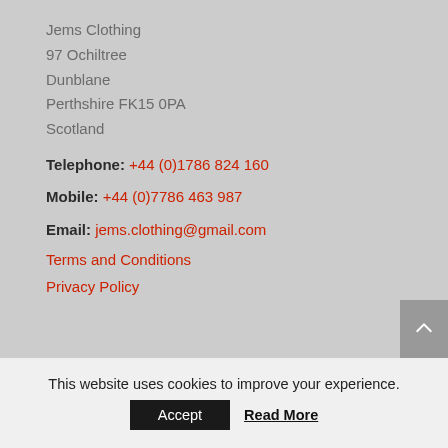Jems Clothing
97 Ochiltree
Dunblane
Perthshire FK15 0PA
Scotland
Telephone: +44 (0)1786 824 160
Mobile: +44 (0)7786 463 987
Email: jems.clothing@gmail.com
Terms and Conditions
Privacy Policy
This website uses cookies to improve your experience.
Accept
Read More